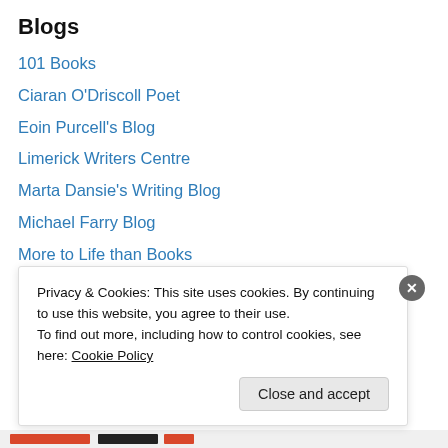Blogs
101 Books
Ciaran O'Driscoll Poet
Eoin Purcell's Blog
Limerick Writers Centre
Marta Dansie's Writing Blog
Michael Farry Blog
More to Life than Books
The Anti-Room Blog
The Irish Story
The Paris Review Blog
The Spectator Book Blog
This Poetic Life
Privacy & Cookies: This site uses cookies. By continuing to use this website, you agree to their use.
To find out more, including how to control cookies, see here: Cookie Policy
Close and accept